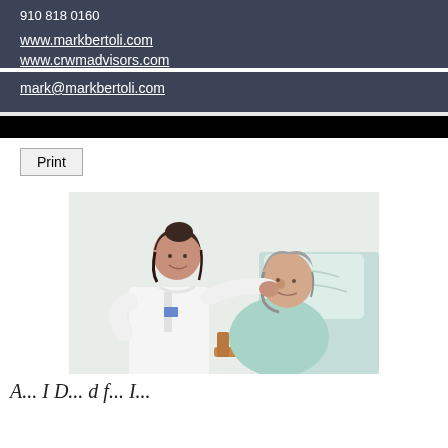910 818 0160
www.markbertoli.com
www.crwmadvisors.com
mark@markbertoli.com
Print
[Figure (photo): A nurse in white uniform assisting an elderly woman seated in a chair with a pillow, in a medical/care setting]
A...I D... d f... I...